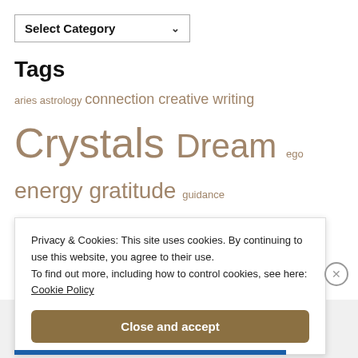[Figure (screenshot): Select Category dropdown UI element]
Tags
aries astrology connection creative writing Crystals Dream ego energy gratitude guidance healing hope intuition love M.E mecfs meditation
Privacy & Cookies: This site uses cookies. By continuing to use this website, you agree to their use.
To find out more, including how to control cookies, see here: Cookie Policy
Close and accept